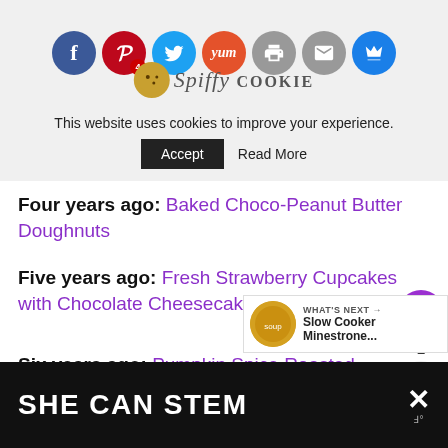Spiffy Cookie - social sharing header with Facebook, Pinterest (4), Twitter, Yummly, Print, Mail, Crown icons and cookie logo
This website uses cookies to improve your experience. Accept  Read More
Four years ago: Baked Choco-Peanut Butter Doughnuts
Five years ago: Fresh Strawberry Cupcakes with Chocolate Cheesecake Frosting
Six years ago: Pumpkin Spice Roasted Pumpkin Seeds
WHAT'S NEXT → Slow Cooker Minestrone...
SHE CAN STEM  ×